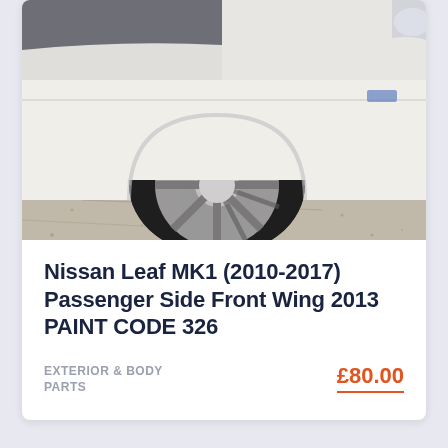[Figure (photo): Photo of a white Nissan Leaf car showing the front passenger side wheel and wing panel, taken from a low angle on a gravel/paved surface]
Nissan Leaf MK1 (2010-2017) Passenger Side Front Wing 2013 PAINT CODE 326
EXTERIOR & BODY PARTS
£80.00